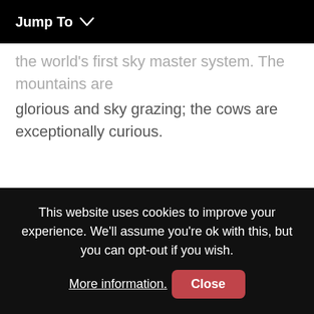Jump To
the world's first sky master system. The mountains are glorious and sky grazing; the cows are exceptionally curious.
This website uses cookies to improve your experience. We'll assume you're ok with this, but you can opt-out if you wish. More information. Close